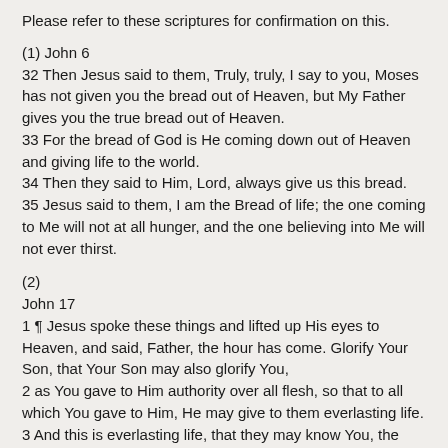Please refer to these scriptures for confirmation on this.
(1) John 6
32 Then Jesus said to them, Truly, truly, I say to you, Moses has not given you the bread out of Heaven, but My Father gives you the true bread out of Heaven.
33 For the bread of God is He coming down out of Heaven and giving life to the world.
34 Then they said to Him, Lord, always give us this bread.
35 Jesus said to them, I am the Bread of life; the one coming to Me will not at all hunger, and the one believing into Me will not ever thirst.
(2)
John 17
1 ¶ Jesus spoke these things and lifted up His eyes to Heaven, and said, Father, the hour has come. Glorify Your Son, that Your Son may also glorify You,
2 as You gave to Him authority over all flesh, so that to all which You gave to Him, He may give to them everlasting life.
3 And this is everlasting life, that they may know You, the only true God, and Jesus Christ, whom You have sent.
4 I have glorified You on the earth. I finished the work that You gave Me to do.
5 And now Father, glorify Me with Yourself, with the glory which I had with You before the existence of the world.